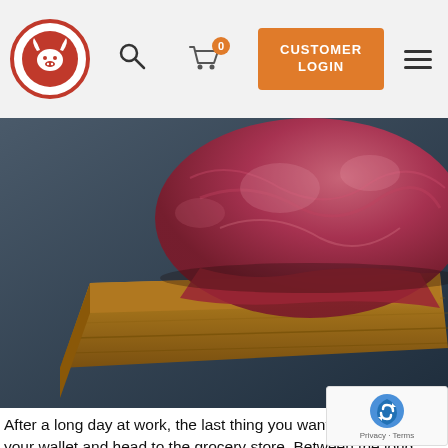[Figure (logo): Red circular logo with bull/cow head icon]
[Figure (photo): Close-up photo of raw meat (steak/burger) on a wooden cutting board against a dark blue background]
After a long day at work, the last thing you want to do is grab your wallet and head to the grocery store. Between the long che[ck-out lines] and often limited selections, particularly when it comes to [meat, the] entire journey feels like more of a hassle than it should be. Fortunately, the age of [...]